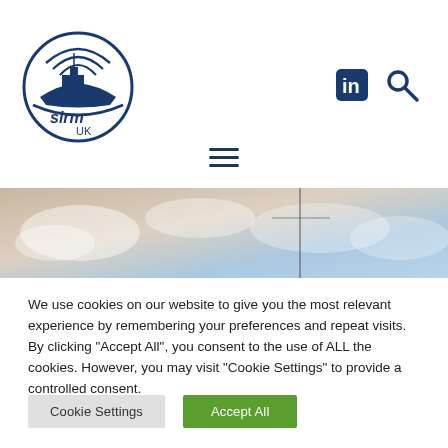[Figure (logo): SIRM UK circular logo with ship and radio waves in dark navy blue]
[Figure (other): LinkedIn icon (square with 'in') and search magnifying glass icon, both in dark navy blue]
[Figure (other): Hamburger menu icon (three horizontal lines) in dark navy blue]
[Figure (photo): Hero banner image showing a sky with clouds, light blue and warm tones]
We use cookies on our website to give you the most relevant experience by remembering your preferences and repeat visits. By clicking "Accept All", you consent to the use of ALL the cookies. However, you may visit "Cookie Settings" to provide a controlled consent.
Cookie Settings
Accept All